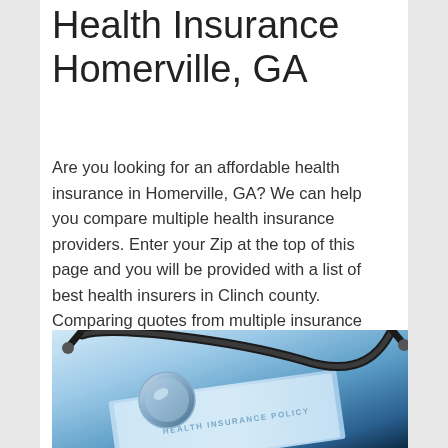Health Insurance Homerville, GA
Are you looking for an affordable health insurance in Homerville, GA? We can help you compare multiple health insurance providers. Enter your Zip at the top of this page and you will be provided with a list of best health insurers in Clinch county. Comparing quotes from multiple insurance carriers is a sure-fire way to guarantee that you are getting a good deal on your coverage.
[Figure (photo): Close-up photo of a stethoscope resting on a health insurance policy document with blue tones]